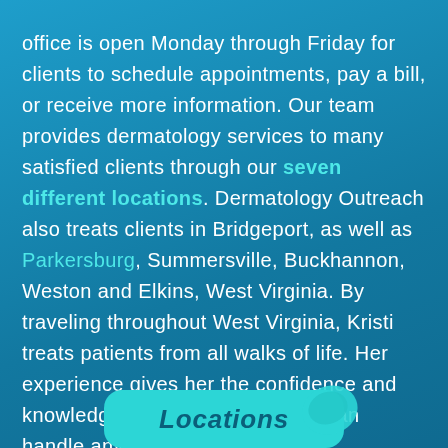office is open Monday through Friday for clients to schedule appointments, pay a bill, or receive more information. Our team provides dermatology services to many satisfied clients through our seven different locations. Dermatology Outreach also treats clients in Bridgeport, as well as Parkersburg, Summersville, Buckhannon, Weston and Elkins, West Virginia. By traveling throughout West Virginia, Kristi treats patients from all walks of life. Her experience gives her the confidence and knowledge that her and her staff can handle any skin care issue.
[Figure (other): Teal rounded button with italic text reading 'Locations' and a leaf/speech-bubble icon in the top right corner]